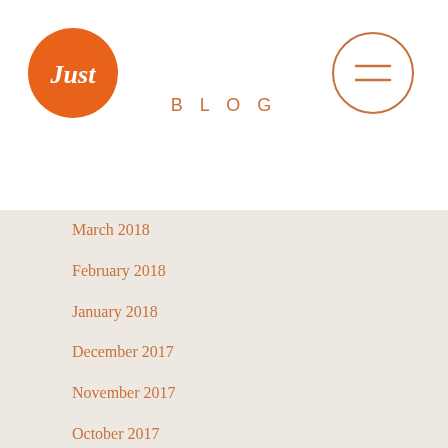[Figure (logo): Just brand logo — orange circle with white cursive 'Just' text]
BLOG
[Figure (other): Hamburger menu button — circle outline with two horizontal lines inside]
March 2018
February 2018
January 2018
December 2017
November 2017
October 2017
September 2017
August 2017
July 2017
June 2017
May 2017
April 2017